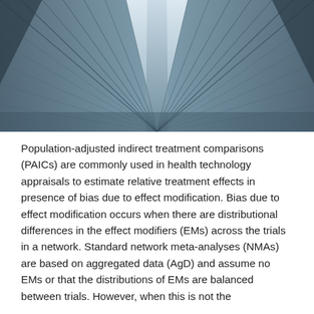[Figure (photo): Upward-looking photograph of modern glass skyscrapers with geometric steel frames, presented in a blue-grey monochrome tone, creating a symmetrical architectural pattern.]
Population-adjusted indirect treatment comparisons (PAICs) are commonly used in health technology appraisals to estimate relative treatment effects in presence of bias due to effect modification. Bias due to effect modification occurs when there are distributional differences in the effect modifiers (EMs) across the trials in a network. Standard network meta-analyses (NMAs) are based on aggregated data (AgD) and assume no EMs or that the distributions of EMs are balanced between trials. However, when this is not the